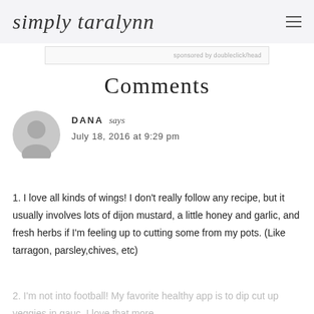simply taralynn
[Figure (other): Partial advertisement bar with text 'sponsored by doubleclick/head']
Comments
[Figure (other): Generic grey user avatar circle with body silhouette]
DANA says
July 18, 2016 at 9:29 pm
1. I love all kinds of wings! I don't really follow any recipe, but it usually involves lots of dijon mustard, a little honey and garlic, and fresh herbs if I'm feeling up to cutting some from my pots. (Like tarragon, parsley,chives, etc)
2. I'm not into football! My favorite healthy app is to dip cut up veggies in gauc. I love that more